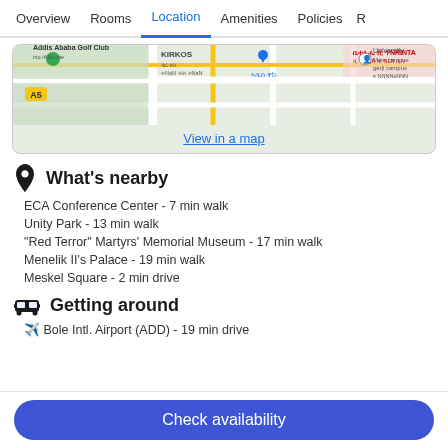Overview | Rooms | Location | Amenities | Policies | R
[Figure (map): Google map showing area around Addis Ababa Golf Club, KIRKOS, university campus, and surrounding streets]
View in a map
What's nearby
ECA Conference Center - 7 min walk
Unity Park - 13 min walk
“Red Terror” Martyrs’ Memorial Museum - 17 min walk
Menelik II’s Palace - 19 min walk
Meskel Square - 2 min drive
Getting around
Bole Intl. Airport (ADD) - 19 min drive
Check availability